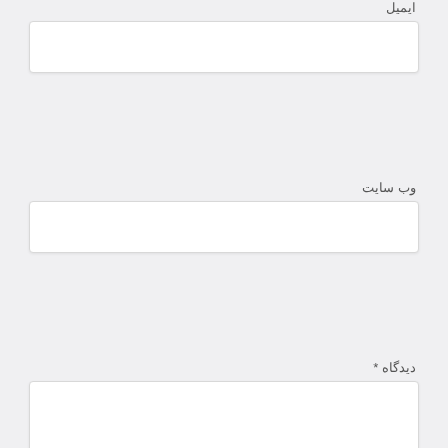ایمیل
[Figure (other): Empty text input field for email]
وب سایت
[Figure (other): Empty text input field for website]
دیدگاه *
[Figure (other): Empty textarea for comment]